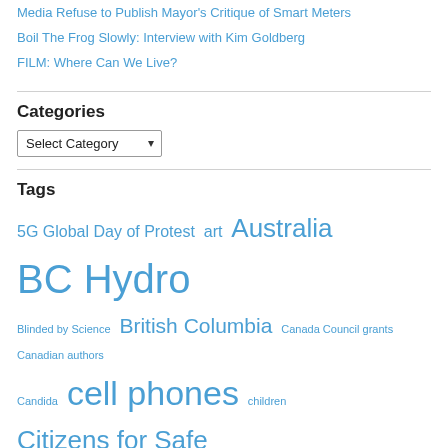Media Refuse to Publish Mayor's Critique of Smart Meters
Boil The Frog Slowly: Interview with Kim Goldberg
FILM: Where Can We Live?
Categories
Select Category
Tags
5G Global Day of Protest art Australia BC Hydro Blinded by Science British Columbia Canada Council grants Canadian authors Candida cell phones children Citizens for Safe Technology civil liberties class action lawsuit Coalition to Stop Smart Meters Colliery Dam Park Columbian Centre Society Denmark effects of radiation on children